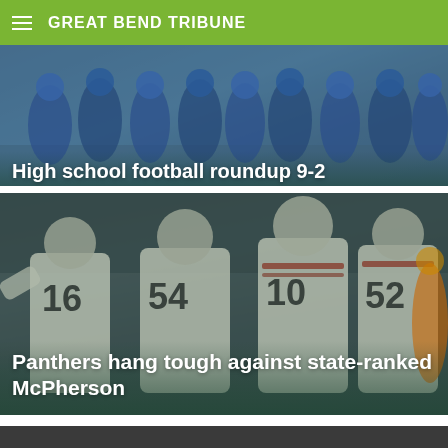GREAT BEND TRIBUNE
[Figure (photo): High school football team in blue uniforms posed on a field, likely a team photo]
High school football roundup 9-2
[Figure (photo): Football players in white uniforms huddled together on field, jersey numbers visible: 16, 54, 10, 52]
Panthers hang tough against state-ranked McPherson